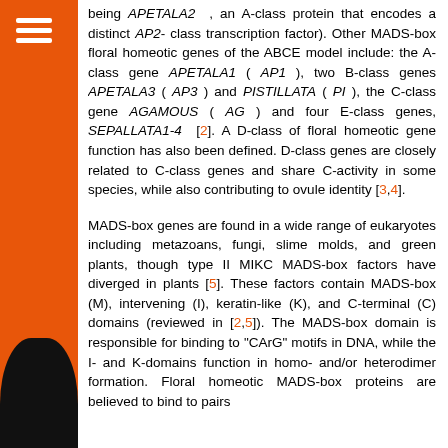being APETALA2, an A-class protein that encodes a distinct AP2- class transcription factor). Other MADS-box floral homeotic genes of the ABCE model include: the A-class gene APETALA1 ( AP1 ), two B-class genes APETALA3 ( AP3 ) and PISTILLATA ( PI ), the C-class gene AGAMOUS ( AG ) and four E-class genes, SEPALLATA1-4 [2]. A D-class of floral homeotic gene function has also been defined. D-class genes are closely related to C-class genes and share C-activity in some species, while also contributing to ovule identity [3,4].
MADS-box genes are found in a wide range of eukaryotes including metazoans, fungi, slime molds, and green plants, though type II MIKC MADS-box factors have diverged in plants [5]. These factors contain MADS-box (M), intervening (I), keratin-like (K), and C-terminal (C) domains (reviewed in [2,5]). The MADS-box domain is responsible for binding to "CArG" motifs in DNA, while the I- and K-domains function in homo- and/or heterodimer formation. Floral homeotic MADS-box proteins are believed to bind to pairs